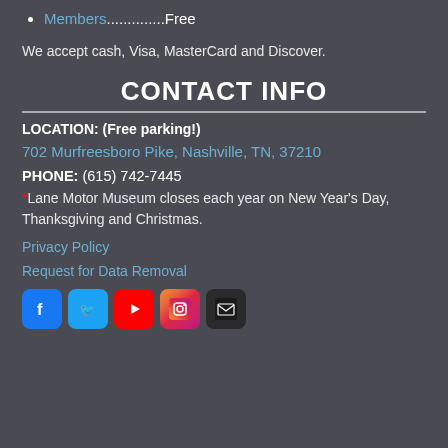Members..............Free
We accept cash, Visa, MasterCard and Discover.
CONTACT INFO
LOCATION: (Free parking!)
702 Murfreesboro Pike, Nashville, TN, 37210
PHONE: (615) 742-7445
*Lane Motor Museum closes each year on New Year's Day, Thanksgiving and Christmas.
Privacy Policy
Request for Data Removal
[Figure (other): Social media icons: Facebook, Twitter, YouTube, Instagram, Email]